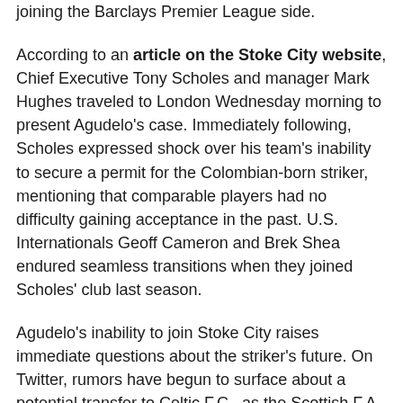joining the Barclays Premier League side.
According to an article on the Stoke City website, Chief Executive Tony Scholes and manager Mark Hughes traveled to London Wednesday morning to present Agudelo's case. Immediately following, Scholes expressed shock over his team's inability to secure a permit for the Colombian-born striker, mentioning that comparable players had no difficulty gaining acceptance in the past. U.S. Internationals Geoff Cameron and Brek Shea endured seamless transitions when they joined Scholes' club last season.
Agudelo's inability to join Stoke City raises immediate questions about the striker's future. On Twitter, rumors have begun to surface about a potential transfer to Celtic F.C., as the Scottish F.A. Association functions under its own set of standards. Others believe Agudelo